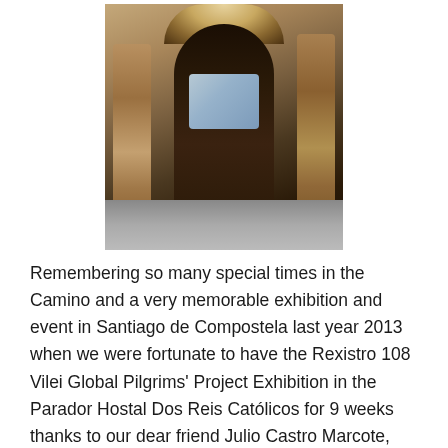[Figure (photo): Photograph of an ornate stone architectural doorway with a large arched entrance, decorative carved stonework on the sides, and a dark wooden double door. A blue-lit screen or display is visible inside the doorway. The image is taken from a low angle looking up, showing the elaborate Baroque-style facade. The ground in front is stone pavement.]
Remembering so many special times in the Camino and a very memorable exhibition and event in Santiago de Compostela last year 2013 when we were fortunate to have the Rexistro 108 Vilei Global Pilgrims' Project Exhibition in the Parador Hostal Dos Reis Católicos for 9 weeks thanks to our dear friend Julio Castro Marcote, Director of the Parador Santiago. This also marked the start of Km 0 Santiago where we enjoyed capturing the